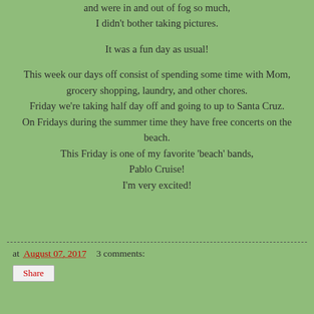and were in and out of fog so much,
I didn't bother taking pictures.

It was a fun day as usual!

This week our days off consist of spending some time with Mom, grocery shopping, laundry, and other chores.
Friday we're taking half day off and going to up to Santa Cruz.
On Fridays during the summer time they have free concerts on the beach.
This Friday is one of my favorite 'beach' bands,
Pablo Cruise!
I'm very excited!
at August 07, 2017   3 comments:
Share